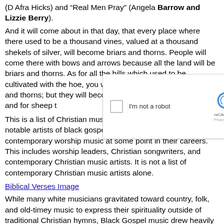(D Afra Hicks) and "Real Men Pray" (Angela Barrow and Lizzie Berry).
And it will come about in that day, that every place where there used to be a thousand vines, valued at a thousand shekels of silver, will become briars and thorns. People will come there with bows and arrows because all the land will be briars and thorns. As for all the hills which used to be cultivated with the hoe, you will not go there for fear of briars and thorns; but they will become a place for pasturing oxen and for sheep to trample.
This is a list of Christian music artists. This list includes notable artists of Black Gospel music known to perform contemporary worship music at some point in their careers. This includes worship leaders, Christian songwriters, and contemporary Christian music artists. It is not a list of contemporary Christian music artists alone.
Biblical Verses Image
While many white musicians gravitated toward country, folk, and old-timey music to express their spirituality outside of traditional Christian hymns, Black Gospel music drew heavily upon the traditional spirituals that had been passed down from the days of slavery, picking up its more driving rhythmic emphasis from blues and early jazz. Composer and singer Thomas A. Dorsey crystallized the style in 1932 with his epochal "Take My Hand, Precious Lord," and went on to compose a great many songs that later became standards. When performed in the churches, the